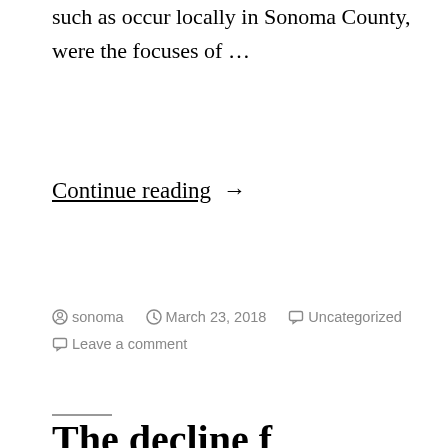such as occur locally in Sonoma County, were the focuses of …
Continue reading →
Posted by sonoma   March 23, 2018   Uncategorized
Leave a comment
The decline f…